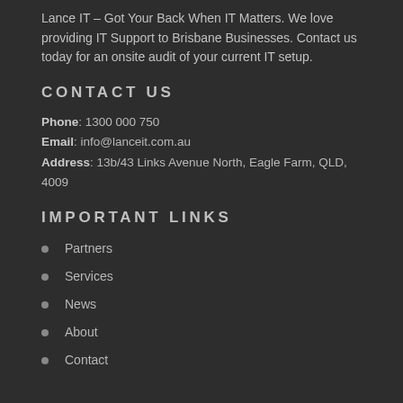Lance IT – Got Your Back When IT Matters. We love providing IT Support to Brisbane Businesses. Contact us today for an onsite audit of your current IT setup.
CONTACT US
Phone: 1300 000 750
Email: info@lanceit.com.au
Address: 13b/43 Links Avenue North, Eagle Farm, QLD, 4009
IMPORTANT LINKS
Partners
Services
News
About
Contact